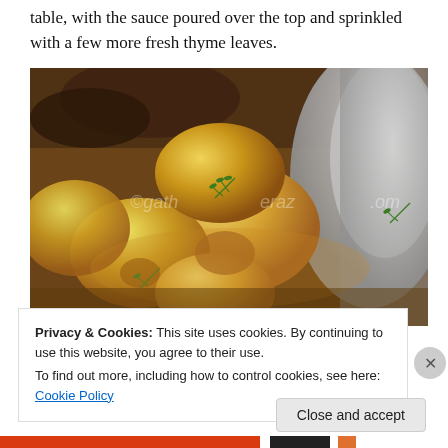table, with the sauce poured over the top and sprinkled with a few more fresh thyme leaves.
[Figure (photo): Close-up photo of roasted potatoes with thyme garnish in a pan, watermark reads gathermag.om]
Privacy & Cookies: This site uses cookies. By continuing to use this website, you agree to their use.
To find out more, including how to control cookies, see here: Cookie Policy
Close and accept